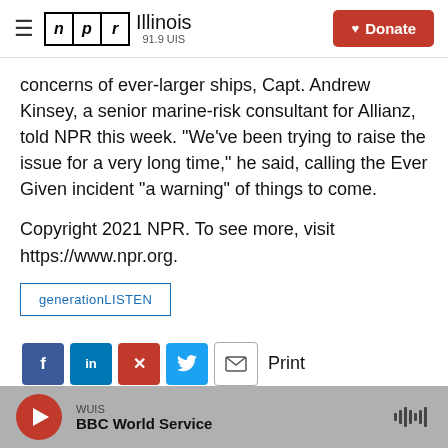NPR Illinois 91.9 UIS — Donate
concerns of ever-larger ships, Capt. Andrew Kinsey, a senior marine-risk consultant for Allianz, told NPR this week. "We've been trying to raise the issue for a very long time," he said, calling the Ever Given incident "a warning" of things to come.
Copyright 2021 NPR. To see more, visit https://www.npr.org.
generationLISTEN
Print
WUIS BBC World Service